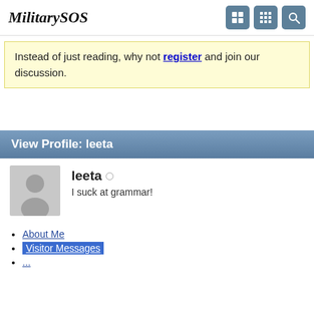MilitarySOS
Instead of just reading, why not register and join our discussion.
View Profile: leeta
[Figure (illustration): Default user avatar silhouette, grey circle with person icon]
leeta
I suck at grammar!
About Me
Visitor Messages
...